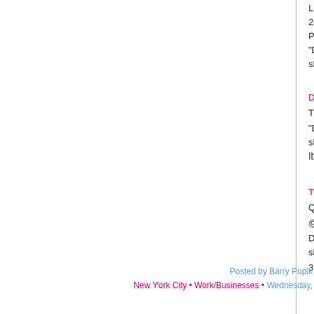Lulu Press (Lulu.com)
2014
Pg. ?:
“Don’t depend too much on anyone in this world be... shadow leaves you when you are in darkness.” Ibn
Daily Maverick (South Africa)
Thursday, 30 November 2017
“Don’t depend too much on anyone in this world be... shadow leaves you when you are in darkness.”
Ibn Taymiyyah
Twitter
Quotes ♥
@wordstionary
Don’t depend too much on anyone in this world be... shadow leaves you when you are in darkness.
3:37 PM - 12 Jun 2018
Posted by Barry Popik
New York City • Work/Businesses • Wednesday,